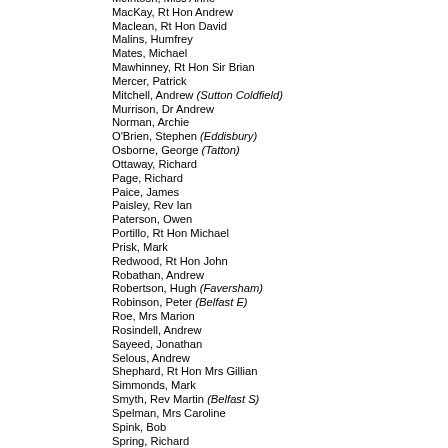McIntosh, Miss Anne
MacKay, Rt Hon Andrew
Maclean, Rt Hon David
Malins, Humfrey
Mates, Michael
Mawhinney, Rt Hon Sir Brian
Mercer, Patrick
Mitchell, Andrew (Sutton Coldfield)
Murrison, Dr Andrew
Norman, Archie
O'Brien, Stephen (Eddisbury)
Osborne, George (Tatton)
Ottaway, Richard
Page, Richard
Paice, James
Paisley, Rev Ian
Paterson, Owen
Portillo, Rt Hon Michael
Prisk, Mark
Redwood, Rt Hon John
Robathan, Andrew
Robertson, Hugh (Faversham)
Robinson, Peter (Belfast E)
Roe, Mrs Marion
Rosindell, Andrew
Sayeed, Jonathan
Selous, Andrew
Shephard, Rt Hon Mrs Gillian
Simmonds, Mark
Smyth, Rev Martin (Belfast S)
Spelman, Mrs Caroline
Spink, Bob
Spring, Richard
Steen, Anthony
Swayne, Desmond
Swire, Hugo
Syms, Robert
Tapsell, Sir Peter
Taylor, Ian (Esher & Walton)
Taylor, John (Solihull)
Tradinnick, David